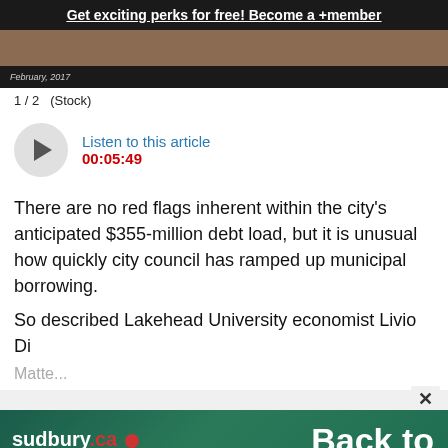Get exciting perks for free! Become a +member
[Figure (photo): Partial image strip showing a dark wood background with text overlay 'February, 2017' at the bottom left]
1 / 2   (Stock)
[Figure (other): Audio player button: circular grey play button with Listen to this article label in blue and timestamp 00:05:49 in red]
There are no red flags inherent within the city's anticipated $355-million debt load, but it is unusual how quickly city council has ramped up municipal borrowing.
So described Lakehead University economist Livio Di Matte...
[Figure (infographic): Sudbury.com Back to School shopping spree advertisement banner with Enter now button]